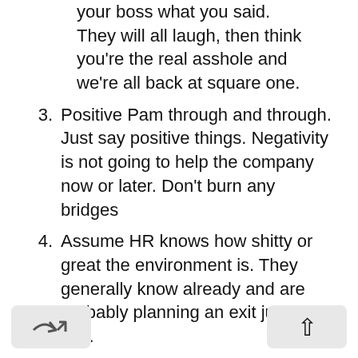your boss what you said. They will all laugh, then think you're the real asshole and we're all back at square one.
3. Positive Pam through and through. Just say positive things. Negativity is not going to help the company now or later. Don't burn any bridges
4. Assume HR knows how shitty or great the environment is. They generally know already and are probably planning an exit just like you.
5. You are not a hero for leaving. You will think you're better because you're on to the next place, but the next place has its